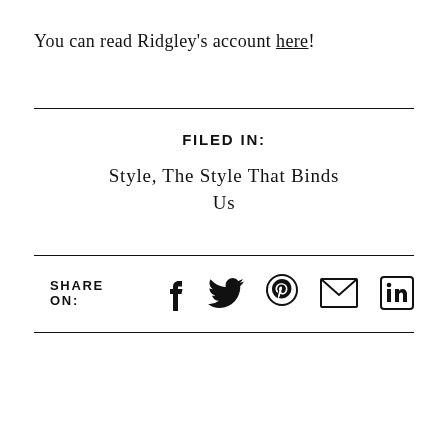You can read Ridgley's account here!
FILED IN:
Style, The Style That Binds Us
SHARE ON: [Facebook] [Twitter] [Pinterest] [Email] [LinkedIn]